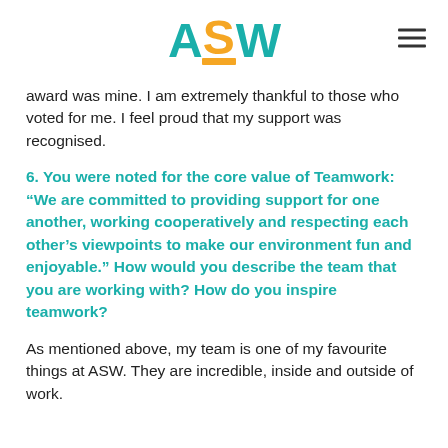ASW logo
award was mine. I am extremely thankful to those who voted for me. I feel proud that my support was recognised.
6. You were noted for the core value of Teamwork: “We are committed to providing support for one another, working cooperatively and respecting each other’s viewpoints to make our environment fun and enjoyable.” How would you describe the team that you are working with? How do you inspire teamwork?
As mentioned above, my team is one of my favourite things at ASW. They are incredible, inside and outside of work.